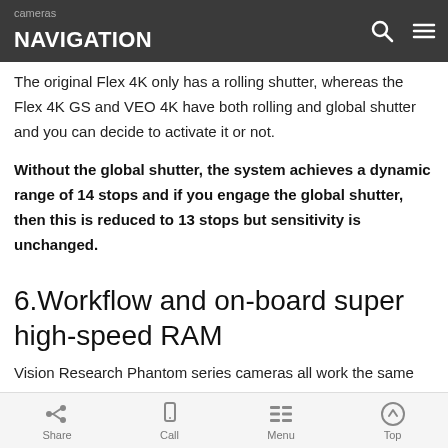cameras NAVIGATION
The original Flex 4K only has a rolling shutter, whereas the Flex 4K GS and VEO 4K have both rolling and global shutter and you can decide to activate it or not.
Without the global shutter, the system achieves a dynamic range of 14 stops and if you engage the global shutter, then this is reduced to 13 stops but sensitivity is unchanged.
6.Workflow and on-board super high-speed RAM
Vision Research Phantom series cameras all work the same way – they are equipped with super-fast RAM which captures images
Share  Call  Menu  Top